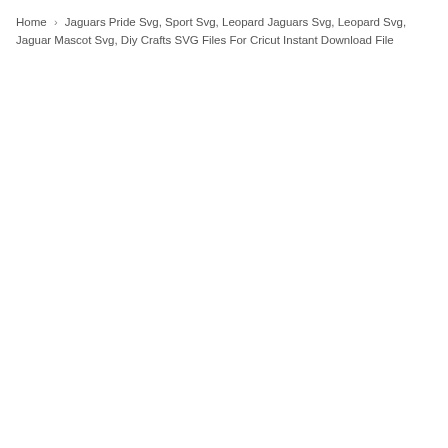Home › Jaguars Pride Svg, Sport Svg, Leopard Jaguars Svg, Leopard Svg, Jaguar Mascot Svg, Diy Crafts SVG Files For Cricut Instant Download File